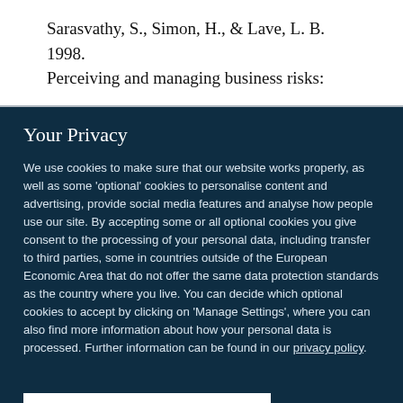Sarasvathy, S., Simon, H., & Lave, L. B. 1998. Perceiving and managing business risks:
Your Privacy
We use cookies to make sure that our website works properly, as well as some 'optional' cookies to personalise content and advertising, provide social media features and analyse how people use our site. By accepting some or all optional cookies you give consent to the processing of your personal data, including transfer to third parties, some in countries outside of the European Economic Area that do not offer the same data protection standards as the country where you live. You can decide which optional cookies to accept by clicking on 'Manage Settings', where you can also find more information about how your personal data is processed. Further information can be found in our privacy policy.
Accept all cookies
Manage preferences